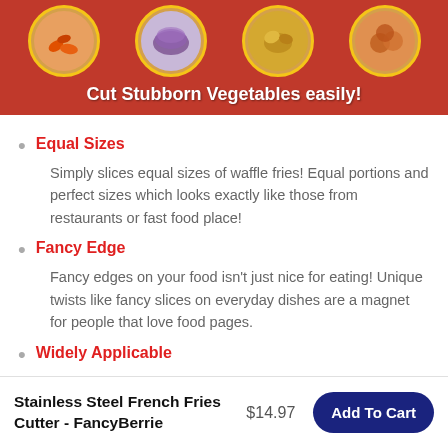[Figure (photo): Product banner image on red/orange background showing four circular medallions with vegetable photos (carrots, purple potatoes/eggplant, ginger/turmeric, sweet potato slices), with bold white text: 'Cut Stubborn Vegetables easily!']
Equal Sizes
Simply slices equal sizes of waffle fries! Equal portions and perfect sizes which looks exactly like those from restaurants or fast food place!
Fancy Edge
Fancy edges on your food isn't just nice for eating! Unique twists like fancy slices on everyday dishes are a magnet for people that love food pages.
Widely Applicable
Stainless Steel French Fries Cutter - FancyBerrie   $14.97   Add To Cart